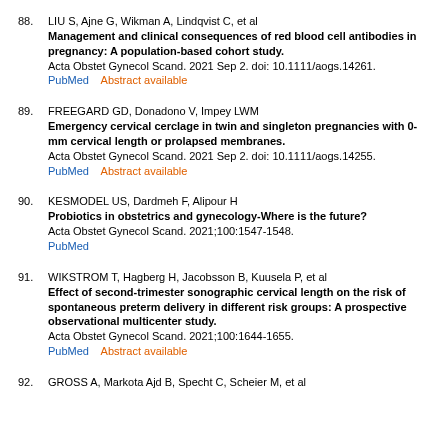88. LIU S, Ajne G, Wikman A, Lindqvist C, et al Management and clinical consequences of red blood cell antibodies in pregnancy: A population-based cohort study. Acta Obstet Gynecol Scand. 2021 Sep 2. doi: 10.1111/aogs.14261. PubMed Abstract available
89. FREEGARD GD, Donadono V, Impey LWM Emergency cervical cerclage in twin and singleton pregnancies with 0-mm cervical length or prolapsed membranes. Acta Obstet Gynecol Scand. 2021 Sep 2. doi: 10.1111/aogs.14255. PubMed Abstract available
90. KESMODEL US, Dardmeh F, Alipour H Probiotics in obstetrics and gynecology-Where is the future? Acta Obstet Gynecol Scand. 2021;100:1547-1548. PubMed
91. WIKSTROM T, Hagberg H, Jacobsson B, Kuusela P, et al Effect of second-trimester sonographic cervical length on the risk of spontaneous preterm delivery in different risk groups: A prospective observational multicenter study. Acta Obstet Gynecol Scand. 2021;100:1644-1655. PubMed Abstract available
92. GROSS A, Markota Ajd B, Specht C, Scheier M, et al